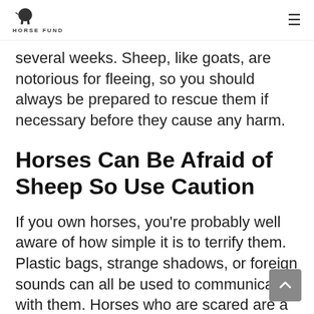Horse Fund
several weeks. Sheep, like goats, are notorious for fleeing, so you should always be prepared to rescue them if necessary before they cause any harm.
Horses Can Be Afraid of Sheep So Use Caution
If you own horses, you’re probably well aware of how simple it is to terrify them. Plastic bags, strange shadows, or foreign sounds can all be used to communicate with them. Horses who are scared are a hazard to themselves and any other animals in the area. When they’re scared, they’re more likely to act rashly. Whether it’s running directly into a fence and harming themselves